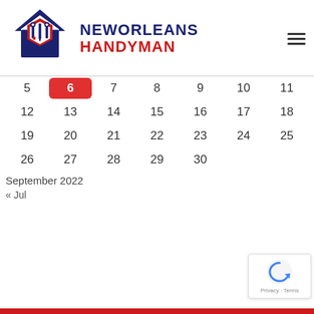[Figure (logo): New Orleans Handyman logo with house and tools icon in red, white and blue, with brand name text NEWORLEANS HANDYMAN]
[Figure (other): Calendar grid for September 2022 showing dates 5-30 with date 6 highlighted in red]
September 2022
« Jul
[Figure (other): reCAPTCHA badge with blue arrow icon and Privacy · Terms text]